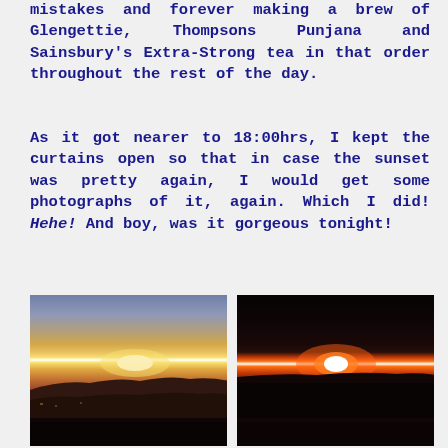mistakes and forever making a brew of Glengettie, Thompsons Punjana and Sainsbury's Extra-Strong tea in that order throughout the rest of the day.
As it got nearer to 18:00hrs, I kept the curtains open so that in case the sunset was pretty again, I would get some photographs of it, again. Which I did! Hehe! And boy, was it gorgeous tonight!
[Figure (photo): Sunset photograph showing golden/white light on the horizon with dark silhouetted landscape below and purple-blue sky above]
[Figure (photo): Dark sunset photograph with a bright orange and white sun orb visible near the horizon against a very dark sky and landscape]
[Figure (photo): Dark sunset photograph strip, partially visible at bottom of page]
[Figure (photo): Dark sunset photograph strip, partially visible at bottom of page]